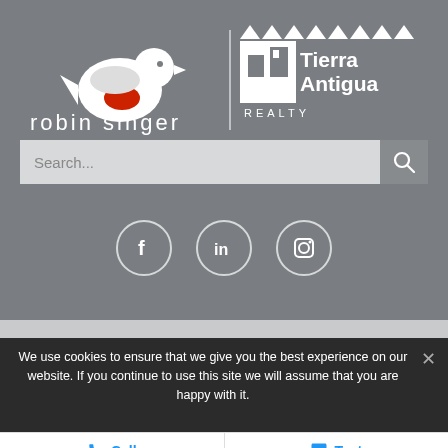[Figure (logo): Robin Singer and Tierra Antigua Realty combined logo on grey background]
[Figure (screenshot): Search bar with placeholder text 'Search...' and a search button icon]
[Figure (screenshot): Three social media icons in circles: Facebook, LinkedIn, Instagram]
We use cookies to ensure that we give you the best experience on our website. If you continue to use this site we will assume that you are happy with it.
[Figure (screenshot): Bottom contact bar with Call and Text buttons]